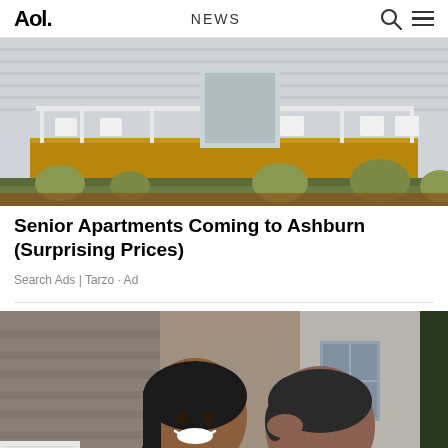Aol. | NEWS
[Figure (photo): Photo of a suburban house with a white porch/deck area, outdoor furniture, and landscaping with ornamental grasses]
Senior Apartments Coming to Ashburn (Surprising Prices)
Search Ads | Tarzo · Ad
[Figure (photo): Photo of a smiling woman being kissed on the cheek by a man, both standing in front of a house]